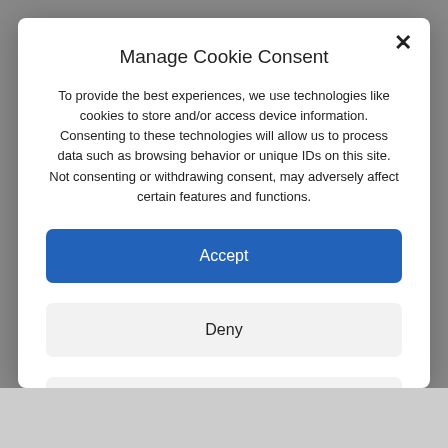Manage Cookie Consent
To provide the best experiences, we use technologies like cookies to store and/or access device information. Consenting to these technologies will allow us to process data such as browsing behavior or unique IDs on this site. Not consenting or withdrawing consent, may adversely affect certain features and functions.
Accept
Deny
View preferences
Cookie Policy